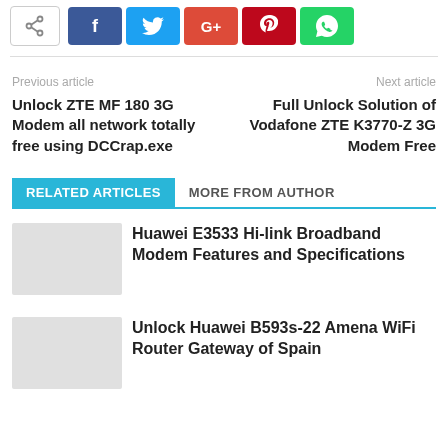[Figure (other): Social sharing buttons: share icon, Facebook (f), Twitter, Google+, Pinterest, WhatsApp]
Previous article
Unlock ZTE MF 180 3G Modem all network totally free using DCCrap.exe
Next article
Full Unlock Solution of Vodafone ZTE K3770-Z 3G Modem Free
RELATED ARTICLES   MORE FROM AUTHOR
Huawei E3533 Hi-link Broadband Modem Features and Specifications
Unlock Huawei B593s-22 Amena WiFi Router Gateway of Spain